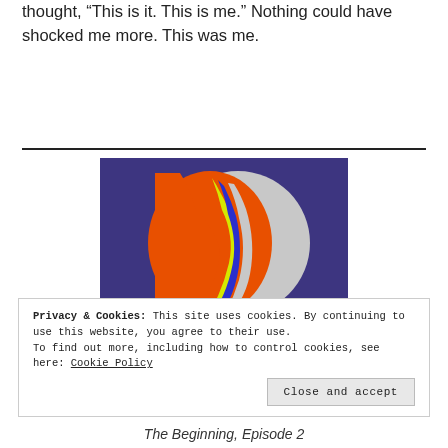thought, “This is it. This is me.” Nothing could have shocked me more. This was me.
[Figure (logo): Logo with overlapping human face profiles in orange, yellow, blue, and gray on a dark purple/indigo background with a large gray circle]
Privacy & Cookies: This site uses cookies. By continuing to use this website, you agree to their use.
To find out more, including how to control cookies, see here: Cookie Policy
The Beginning, Episode 2